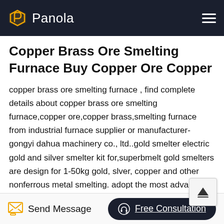Panola
Copper Brass Ore Smelting Furnace Buy Copper Ore Copper
copper brass ore smelting furnace , find complete details about copper brass ore smelting furnace,copper ore,copper brass,smelting furnace from industrial furnace supplier or manufacturer-gongyi dahua machinery co., ltd..gold smelter electric gold and silver smelter kit for,superbmelt gold smelters are design for 1-50kg gold, slver, copper and other nonferrous metal smelting. adopt the most advanced igbt induction technology to ensu 24h continuous melting and speedy melting rate with 10min per batch. widely used in gold mining, gold digger and precious metal foundries. know more.polish miner
Send Message
Free Consultation